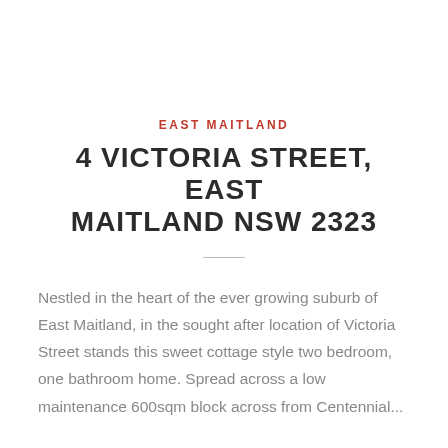EAST MAITLAND
4 VICTORIA STREET, EAST MAITLAND NSW 2323
Nestled in the heart of the ever growing suburb of East Maitland, in the sought after location of Victoria Street stands this sweet cottage style two bedroom, one bathroom home. Spread across a low maintenance 600sqm block across from Centennial...